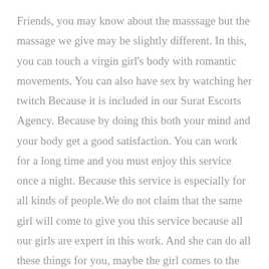Friends, you may know about the masssage but the massage we give may be slightly different. In this, you can touch a virgin girl's body with romantic movements. You can also have sex by watching her twitch Because it is included in our Surat Escorts Agency. Because by doing this both your mind and your body get a good satisfaction. You can work for a long time and you must enjoy this service once a night. Because this service is especially for all kinds of people.We do not claim that the same girl will come to give you this service because all our girls are expert in this work. And she can do all these things for you, maybe the girl comes to the place of the former.